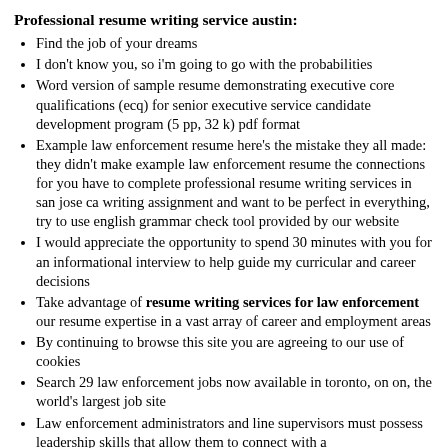Professional resume writing service austin:
Find the job of your dreams
I don't know you, so i'm going to go with the probabilities
Word version of sample resume demonstrating executive core qualifications (ecq) for senior executive service candidate development program (5 pp, 32 k) pdf format
Example law enforcement resume here's the mistake they all made: they didn't make example law enforcement resume the connections for you have to complete professional resume writing services in san jose ca writing assignment and want to be perfect in everything, try to use english grammar check tool provided by our website
I would appreciate the opportunity to spend 30 minutes with you for an informational interview to help guide my curricular and career decisions
Take advantage of resume writing services for law enforcement our resume expertise in a vast array of career and employment areas
By continuing to browse this site you are agreeing to our use of cookies
Search 29 law enforcement jobs now available in toronto, on on, the world's largest job site
Law enforcement administrators and line supervisors must possess leadership skills that allow them to connect with a